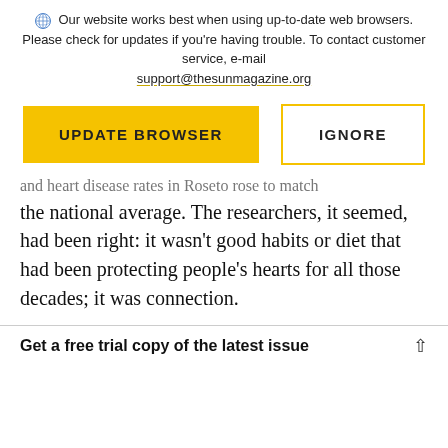Our website works best when using up-to-date web browsers. Please check for updates if you're having trouble. To contact customer service, e-mail support@thesunmagazine.org
[Figure (other): Two buttons: 'UPDATE BROWSER' (yellow filled) and 'IGNORE' (yellow outline)]
and heart disease rates in Roseto rose to match the national average. The researchers, it seemed, had been right: it wasn't good habits or diet that had been protecting people's hearts for all those decades; it was connection.
Get a free trial copy of the latest issue